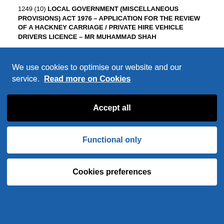1249  (10)   LOCAL GOVERNMENT (MISCELLANEOUS PROVISIONS) ACT 1976 – APPLICATION FOR THE REVIEW OF A HACKNEY CARRIAGE / PRIVATE HIRE VEHICLE DRIVERS LICENCE – MR MUHAMMAD SHAH
We use cookies to optimise our website and our service.  Read more on Cookies
Accept all
Functional only
Cookies preferences
Cookies Settings
s in which the sub-committee could refuse a